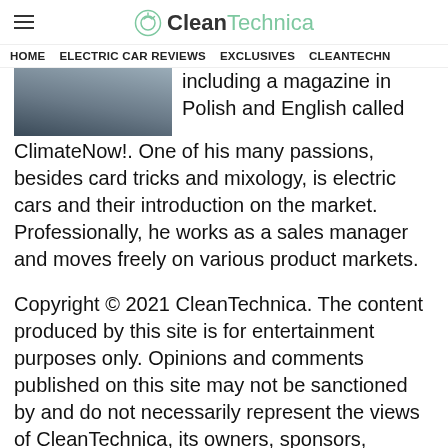CleanTechnica
HOME   ELECTRIC CAR REVIEWS   EXCLUSIVES   CLEANTECHN
[Figure (photo): Partial photo of an author, cropped at top of frame showing shoulders/jacket area]
including a magazine in Polish and English called ClimateNow!. One of his many passions, besides card tricks and mixology, is electric cars and their introduction on the market. Professionally, he works as a sales manager and moves freely on various product markets.
Copyright © 2021 CleanTechnica. The content produced by this site is for entertainment purposes only. Opinions and comments published on this site may not be sanctioned by and do not necessarily represent the views of CleanTechnica, its owners, sponsors, affiliates, or subsidiaries.